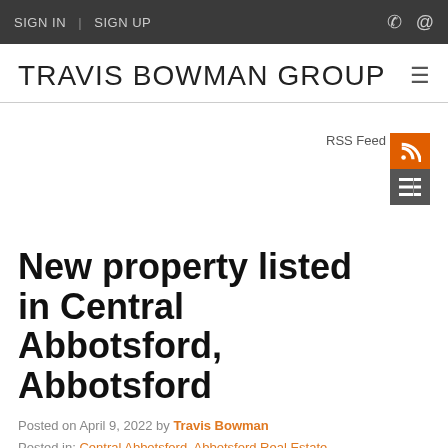SIGN IN | SIGN UP
TRAVIS BOWMAN GROUP
RSS Feed
New property listed in Central Abbotsford, Abbotsford
Posted on April 9, 2022 by Travis Bowman
Posted in: Central Abbotsford, Abbotsford Real Estate